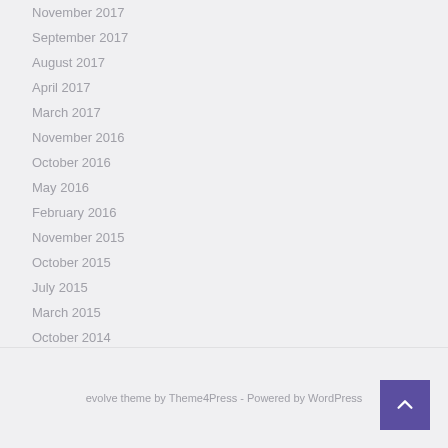November 2017
September 2017
August 2017
April 2017
March 2017
November 2016
October 2016
May 2016
February 2016
November 2015
October 2015
July 2015
March 2015
October 2014
April 2014
evolve theme by Theme4Press - Powered by WordPress